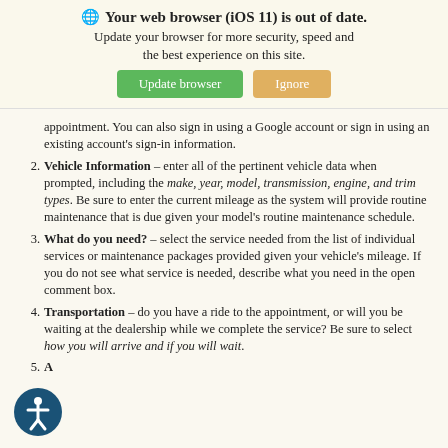[Figure (screenshot): Browser update banner: globe icon, bold title 'Your web browser (iOS 11) is out of date.', subtitle 'Update your browser for more security, speed and the best experience on this site.', two buttons: green 'Update browser' and tan 'Ignore']
appointment. You can also sign in using a Google account or sign in using an existing account's sign-in information.
Vehicle Information – enter all of the pertinent vehicle data when prompted, including the make, year, model, transmission, engine, and trim types. Be sure to enter the current mileage as the system will provide routine maintenance that is due given your model's routine maintenance schedule.
What do you need? – select the service needed from the list of individual services or maintenance packages provided given your vehicle's mileage. If you do not see what service is needed, describe what you need in the open comment box.
Transportation – do you have a ride to the appointment, or will you be waiting at the dealership while we complete the service? Be sure to select how you will arrive and if you will wait.
A...